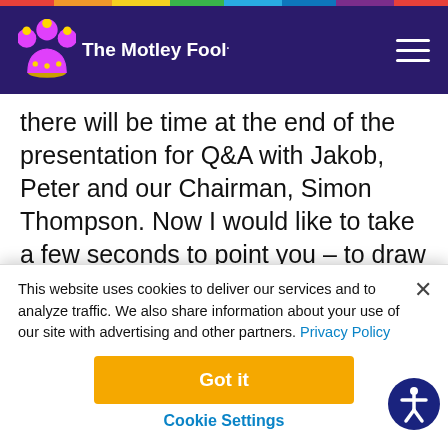[Figure (logo): The Motley Fool logo with jester hat icon on dark purple/navy navigation bar]
there will be time at the end of the presentation for Q&A with Jakob, Peter and our Chairman, Simon Thompson. Now I would like to take a few seconds to point you – to draw your attention to the cautionary statement on slide two, which contains important information on the basis of
This website uses cookies to deliver our services and to analyze traffic. We also share information about your use of our site with advertising and other partners. Privacy Policy
Got it
Cookie Settings